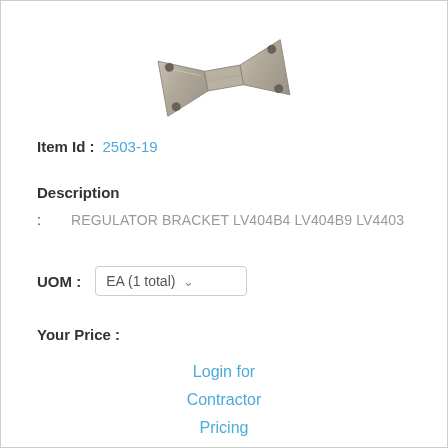[Figure (photo): A metal regulator bracket component, bowtie/hourglass shaped with mounting holes at each corner, gray metallic finish]
Item Id : 2503-19
Description
: REGULATOR BRACKET LV404B4 LV404B9 LV4403
UOM : EA (1 total)
Your Price :
Login for Contractor Pricing